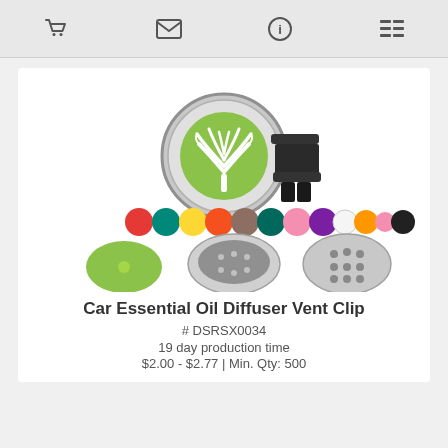[navigation icons: cart, email, info, list]
[Figure (photo): Car essential oil diffuser vent clip product photo showing a round stainless steel locket with tree of life cutout design clipped to a car vent, with colorful felt pads in various colors, and component views showing the inside, vent clip attachment, and a green pad.]
Car Essential Oil Diffuser Vent Clip
# DSRSX0034
19 day production time
$2.00 - $2.77 | Min. Qty: 500